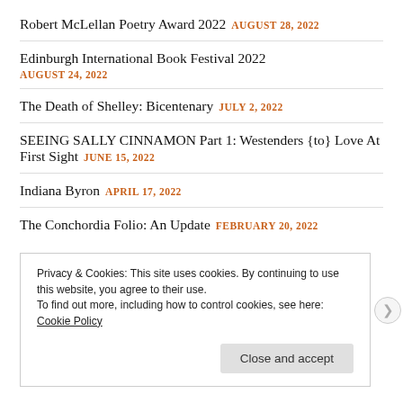Robert McLellan Poetry Award 2022 AUGUST 28, 2022
Edinburgh International Book Festival 2022 AUGUST 24, 2022
The Death of Shelley: Bicentenary JULY 2, 2022
SEEING SALLY CINNAMON Part 1: Westenders {to} Love At First Sight JUNE 15, 2022
Indiana Byron APRIL 17, 2022
The Conchordia Folio: An Update FEBRUARY 20, 2022
Privacy & Cookies: This site uses cookies. By continuing to use this website, you agree to their use. To find out more, including how to control cookies, see here: Cookie Policy